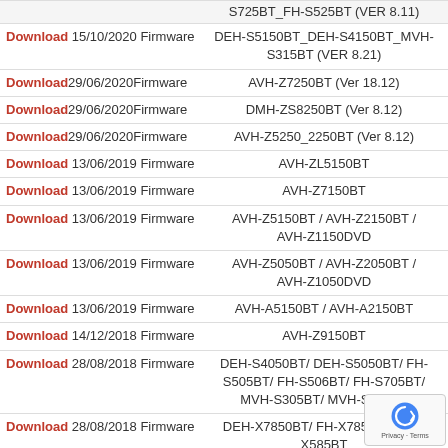Download 15/10/2020 Firmware DEH-S5150BT_DEH-S4150BT_MVH-S315BT (VER 8.21)
Download 29/06/2020 Firmware AVH-Z7250BT (Ver 18.12)
Download 29/06/2020 Firmware DMH-ZS8250BT (Ver 8.12)
Download 29/06/2020 Firmware AVH-Z5250_2250BT (Ver 8.12)
Download 13/06/2019 Firmware AVH-ZL5150BT
Download 13/06/2019 Firmware AVH-Z7150BT
Download 13/06/2019 Firmware AVH-Z5150BT / AVH-Z2150BT / AVH-Z1150DVD
Download 13/06/2019 Firmware AVH-Z5050BT / AVH-Z2050BT / AVH-Z1050DVD
Download 13/06/2019 Firmware AVH-A5150BT / AVH-A2150BT
Download 14/12/2018 Firmware AVH-Z9150BT
Download 28/08/2018 Firmware DEH-S4050BT/ DEH-S5050BT/ FH-S505BT/ FH-S506BT/ FH-S705BT/ MVH-S305BT/ MVH-S405BT
Download 28/08/2018 Firmware DEH-X7850BT/ FH-X785BT/ MVH-X585BT
Download 02/03/2018 Firmware AVH-X595
Download 02/03/2018 Firmware AVH-X1850 / AVH-X2850 / AVH-